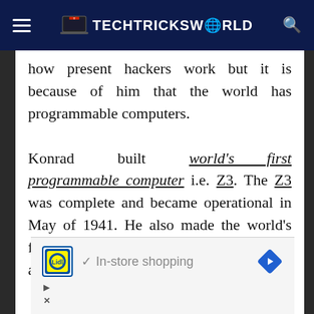TECHTRICKSWORLD
how present hackers work but it is because of him that the world has programmable computers.
Konrad built world's first programmable computer i.e. Z3. The Z3 was complete and became operational in May of 1941. He also made the world's first commercial computer as well. He is also known for
[Figure (other): Advertisement banner for Lidl showing 'In-store shopping' with Lidl logo and navigation arrow icon]